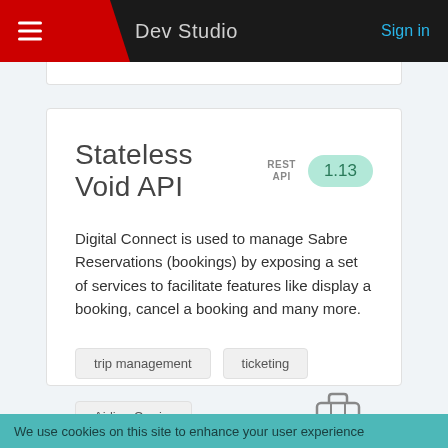Dev Studio   Sign in
Stateless Void API  REST API  1.13
Digital Connect is used to manage Sabre Reservations (bookings) by exposing a set of services to facilitate features like display a booking, cancel a booking and many more.
trip management
ticketing
Airline Carrier
[Figure (illustration): Luggage/briefcase icon]
We use cookies on this site to enhance your user experience